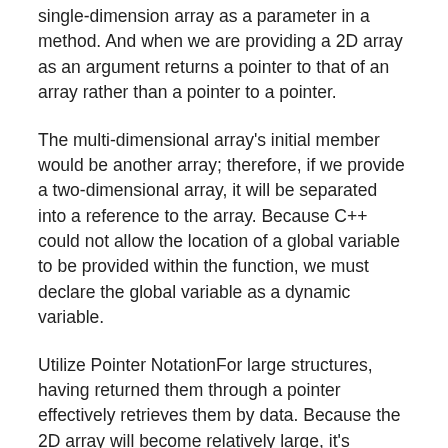single-dimension array as a parameter in a method. And when we are providing a 2D array as an argument returns a pointer to that of an array rather than a pointer to a pointer.
The multi-dimensional array's initial member would be another array; therefore, if we provide a two-dimensional array, it will be separated into a reference to the array. Because C++ could not allow the location of a global variable to be provided within the function, we must declare the global variable as a dynamic variable.
Utilize Pointer NotationFor large structures, having returned them through a pointer effectively retrieves them by data. Because the 2D array will become relatively large, it's recommended to provide the pointer to the matrix's initial component, as seen in the following instance. The 2D array argument in UpdatedArr is declared with arr[][SIZE] format to retrieve its components using brackets in the